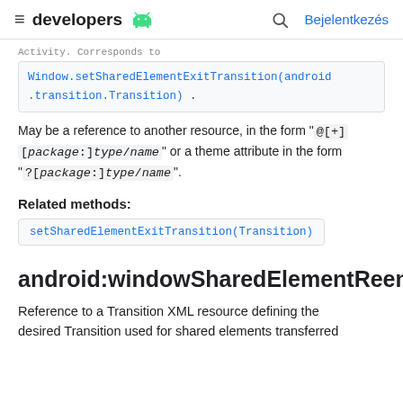developers [android icon] | Bejelentkezés
Activity. Corresponds to
Window.setSharedElementExitTransition(android.transition.Transition).
May be a reference to another resource, in the form " @[+][package:]type/name" or a theme attribute in the form "?[package:]type/name".
Related methods:
setSharedElementExitTransition(Transition)
android:windowSharedElementReenterTra...
Reference to a Transition XML resource defining the desired Transition used for shared elements transferred